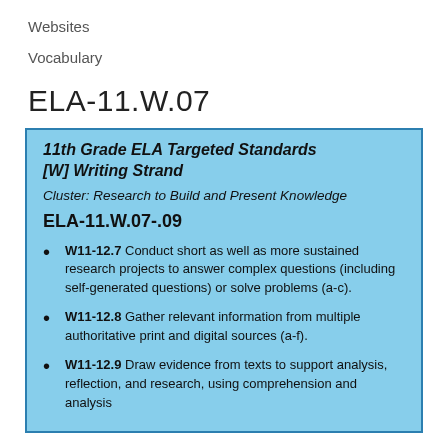Websites
Vocabulary
ELA-11.W.07
11th Grade ELA Targeted Standards
[W] Writing Strand
Cluster: Research to Build and Present Knowledge
ELA-11.W.07-.09
W11-12.7 Conduct short as well as more sustained research projects to answer complex questions (including self-generated questions) or solve problems (a-c).
W11-12.8 Gather relevant information from multiple authoritative print and digital sources (a-f).
W11-12.9 Draw evidence from texts to support analysis, reflection, and research, using comprehension and analysis